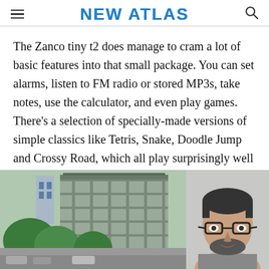NEW ATLAS
The Zanco tiny t2 does manage to cram a lot of basic features into that small package. You can set alarms, listen to FM radio or stored MP3s, take notes, use the calculator, and even play games. There’s a selection of specially-made versions of simple classics like Tetris, Snake, Doodle Jump and Crossy Road, which all play surprisingly well on such a minuscule screen.
[Figure (photo): Two side-by-side photos: left shows a multi-story parking garage with trees and cars in front; right shows a man with dark-rimmed glasses and a beard against a light background.]